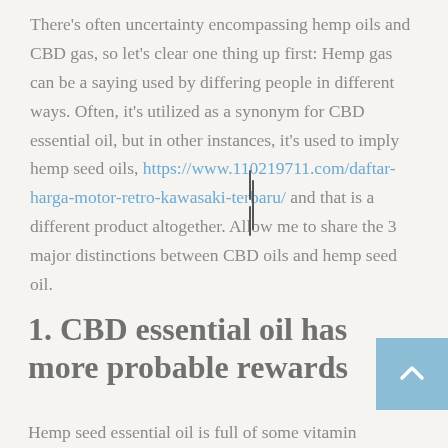There's often uncertainty encompassing hemp oils and CBD gas, so let's clear one thing up first: Hemp gas can be a saying used by differing people in different ways. Often, it's utilized as a synonym for CBD essential oil, but in other instances, it's used to imply hemp seed oils, https://www.110219711.com/daftar-harga-motor-retro-kawasaki-terbaru/ and that is a different product altogether. Allow me to share the 3 major distinctions between CBD oils and hemp seed oil.
1. CBD essential oil has more probable rewards
Hemp seed essential oil is full of some vitamin